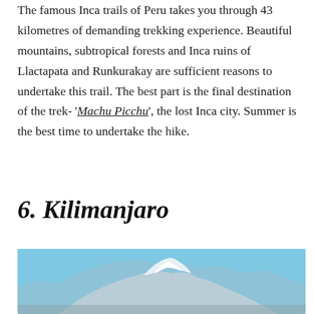The famous Inca trails of Peru takes you through 43 kilometres of demanding trekking experience. Beautiful mountains, subtropical forests and Inca ruins of Llactapata and Runkurakay are sufficient reasons to undertake this trail. The best part is the final destination of the trek- 'Machu Picchu', the lost Inca city. Summer is the best time to undertake the hike.
6. Kilimanjaro
[Figure (photo): Photograph of Mount Kilimanjaro with snow-capped peak against a blue sky, taken from a distance showing the mountain's broad base.]